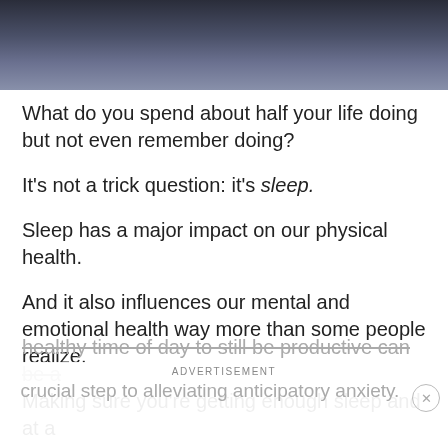[Figure (photo): Close-up photo of dark blue/grey rumpled bed sheets or fabric]
What do you spend about half your life doing but not even remember doing?
It’s not a trick question: it’s sleep.
Sleep has a major impact on our physical health.
And it also influences our mental and emotional health way more than some people realize.
Making sure you’re getting enough sleep and at a healthy time of day to still be productive can be a crucial step to alleviating anticipatory anxiety.
ADVERTISEMENT